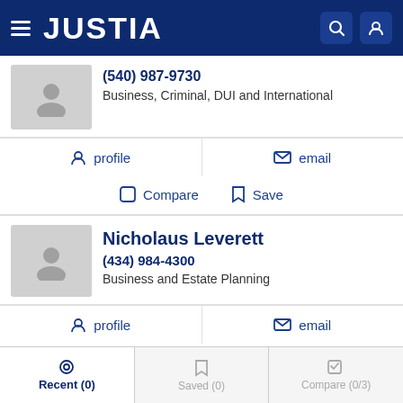JUSTIA
(540) 987-9730
Business, Criminal, DUI and International
profile   email
Compare   Save
Nicholaus Leverett
(434) 984-4300
Business and Estate Planning
profile   email
Compare   Save
Recent (0)   Saved (0)   Compare (0/3)